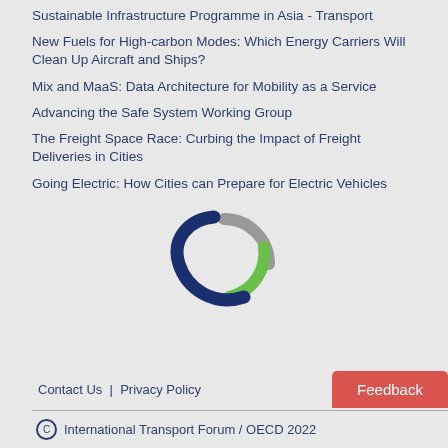Sustainable Infrastructure Programme in Asia - Transport
New Fuels for High-carbon Modes: Which Energy Carriers Will Clean Up Aircraft and Ships?
Mix and MaaS: Data Architecture for Mobility as a Service
Advancing the Safe System Working Group
The Freight Space Race: Curbing the Impact of Freight Deliveries in Cities
Going Electric: How Cities can Prepare for Electric Vehicles
[Figure (logo): International Transport Forum circular logo with grey, green, and dark blue swoosh/arc shapes forming a stylized globe or wheel]
Contact Us  |  Privacy Policy    Feedback
© International Transport Forum / OECD 2022